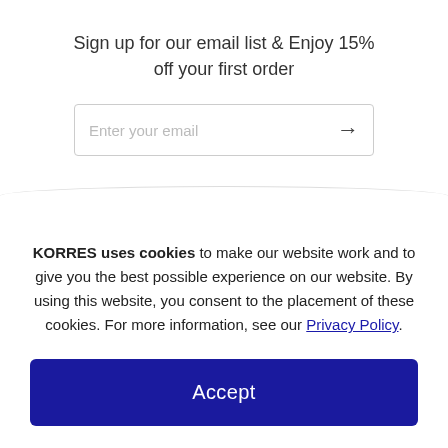Sign up for our email list & Enjoy 15% off your first order
[Figure (other): Email input field with placeholder 'Enter your email' and a right-arrow submit button]
KORRES uses cookies to make our website work and to give you the best possible experience on our website. By using this website, you consent to the placement of these cookies. For more information, see our Privacy Policy.
Accept